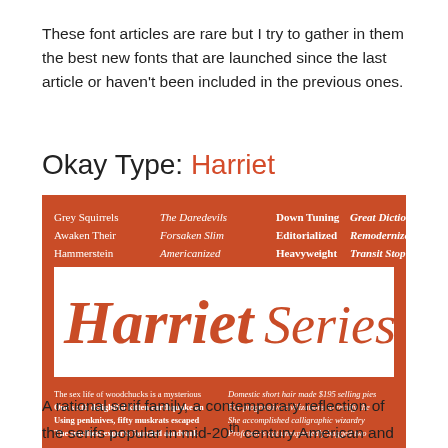These font articles are rare but I try to gather in them the best new fonts that are launched since the last article or haven't been included in the previous ones.
Okay Type: Harriet
[Figure (illustration): Promotional specimen image for the Harriet typeface by Okay Type, showing various weights and styles on an orange/red background. Displays words like 'Grey Squirrels', 'The Daredevils', 'Down Tuning', 'Great Diction', 'Awaken Their', 'Forsaken Slim', 'Editorialized', 'Remodernize', 'Hammerstein', 'Americanized', 'Heavyweight', 'Transit Stop', large display text 'Harriet Series', and smaller paragraph text specimens at the bottom.]
A rational serif family, a contemporary reflection of the serifs popular in mid-20th century American and English